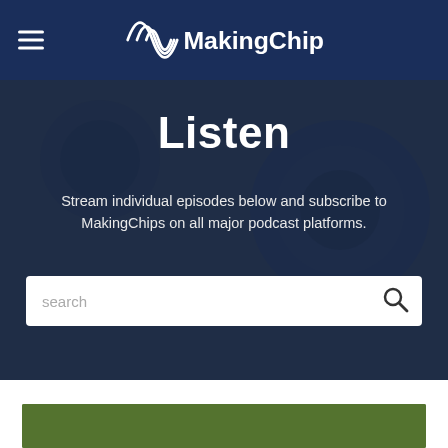MakingChips
Listen
Stream individual episodes below and subscribe to MakingChips on all major podcast platforms.
[Figure (screenshot): Search bar with placeholder text 'search' and a search icon on the right]
[Figure (photo): Partial view of a green thumbnail image at the bottom of the page]